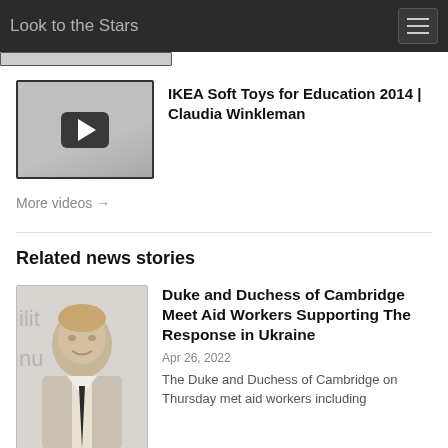Look to the Stars
[Figure (screenshot): Video thumbnail with play button for IKEA Soft Toys for Education 2014 featuring Claudia Winkleman]
IKEA Soft Toys for Education 2014 | Claudia Winkleman
More videos →
Related news stories
[Figure (photo): Photo of a man smiling, partially cropped, with text partially visible in background reading 'ili... r s nu...ctu...']
Duke and Duchess of Cambridge Meet Aid Workers Supporting The Response in Ukraine
Apr 26, 2022
The Duke and Duchess of Cambridge on Thursday met aid workers including